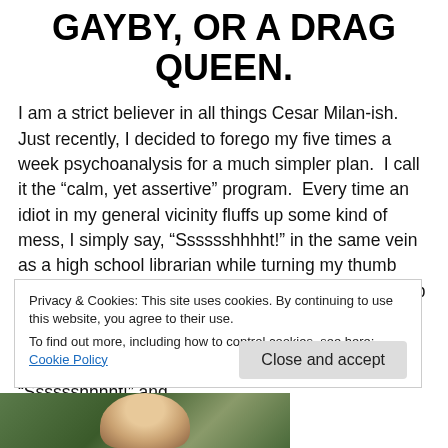GAYBY, OR A DRAG QUEEN.
I am a strict believer in all things Cesar Milan-ish.  Just recently, I decided to forego my five times a week psychoanalysis for a much simpler plan.  I call it the “calm, yet assertive” program.  Every time an idiot in my general vicinity fluffs up some kind of mess, I simply say, “Sssssshhht!” in the same vein as a high school librarian while turning my thumb and first two forefingers into lobster pincers that grab at the air violently.  I hold a picture in my mind that always includes a tug o’ war rope.  I am at one end and my nemesis at the other.  I calmly say, “Ssssshhhht!” and
Privacy & Cookies: This site uses cookies. By continuing to use this website, you agree to their use.
To find out more, including how to control cookies, see here: Cookie Policy
[Figure (photo): Partial photo of a person at the bottom of the page, with a green/outdoor background]